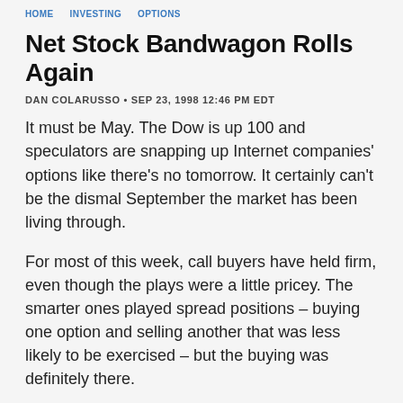HOME • INVESTING • OPTIONS
Net Stock Bandwagon Rolls Again
DAN COLARUSSO • SEP 23, 1998 12:46 PM EDT
It must be May. The Dow is up 100 and speculators are snapping up Internet companies' options like there's no tomorrow. It certainly can't be the dismal September the market has been living through.
For most of this week, call buyers have held firm, even though the plays were a little pricey. The smarter ones played spread positions – buying one option and selling another that was less likely to be exercised – but the buying was definitely there.
Today, powered by alliances between